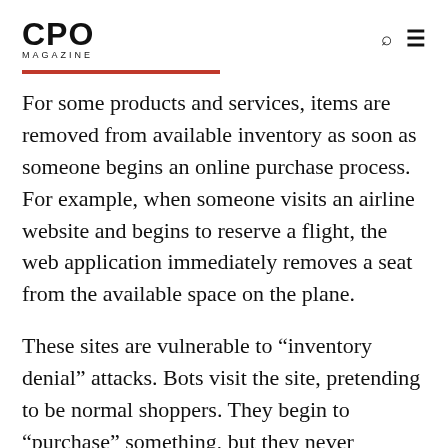CPO MAGAZINE
For some products and services, items are removed from available inventory as soon as someone begins an online purchase process. For example, when someone visits an airline website and begins to reserve a flight, the web application immediately removes a seat from the available space on the plane.
These sites are vulnerable to “inventory denial” attacks. Bots visit the site, pretending to be normal shoppers. They begin to “purchase” something, but they never complete the transaction. Usually, the website